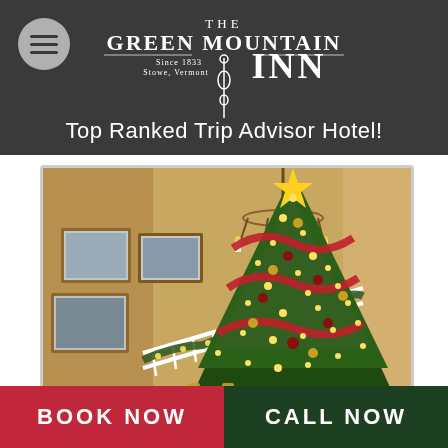THE GREEN MOUNTAIN INN Since 1833 Stowe, Vermont
Top Ranked Trip Advisor Hotel!
[Figure (photo): Interior photo of a decorated Christmas tree with red ribbon, gold ornaments, and white lights, with a staircase banister with garland in the background and framed pictures on the wall.]
BOOK NOW
CALL NOW